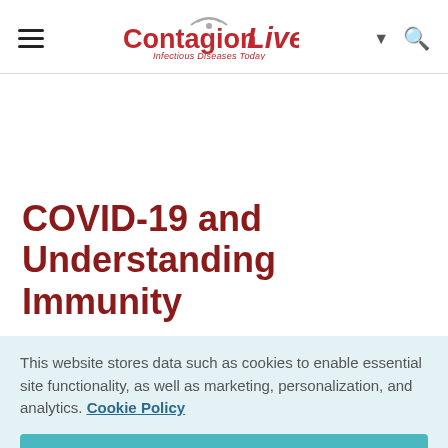ContagionLive — Infectious Diseases Today
COVID-19 and Understanding Immunity
This website stores data such as cookies to enable essential site functionality, as well as marketing, personalization, and analytics. Cookie Policy
Accept
Deny